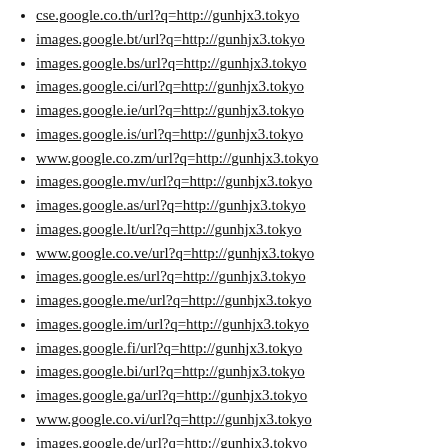cse.google.co.th/url?q=http://gunhjx3.tokyo
images.google.bt/url?q=http://gunhjx3.tokyo
images.google.bs/url?q=http://gunhjx3.tokyo
images.google.ci/url?q=http://gunhjx3.tokyo
images.google.ie/url?q=http://gunhjx3.tokyo
images.google.is/url?q=http://gunhjx3.tokyo
www.google.co.zm/url?q=http://gunhjx3.tokyo
images.google.mv/url?q=http://gunhjx3.tokyo
images.google.as/url?q=http://gunhjx3.tokyo
images.google.lt/url?q=http://gunhjx3.tokyo
www.google.co.ve/url?q=http://gunhjx3.tokyo
images.google.es/url?q=http://gunhjx3.tokyo
images.google.me/url?q=http://gunhjx3.tokyo
images.google.im/url?q=http://gunhjx3.tokyo
images.google.fi/url?q=http://gunhjx3.tokyo
images.google.bi/url?q=http://gunhjx3.tokyo
images.google.ga/url?q=http://gunhjx3.tokyo
www.google.co.vi/url?q=http://gunhjx3.tokyo
images.google.de/url?q=http://gunhjx3.tokyo